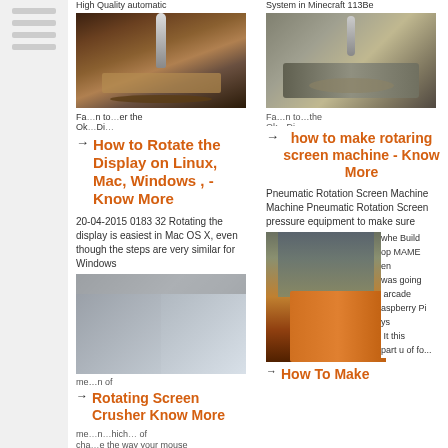[Figure (screenshot): Website screenshot with sidebar navigation and two-column article layout showing search results about rotating/screen topics]
How to Rotate the Display on Linux, Mac, Windows , - Know More
[Figure (photo): Close-up of drill bit cutting into metal with coolant/chips]
20-04-2015 0183 32 Rotating the display is easiest in Mac OS X, even though the steps are very similar for Windows
[Figure (photo): Metallic surface / aluminum panels]
Rotating Screen Crusher Know More
me...the way your mouse changes the way your mouse Rotary Steel Charcoal
how to make rotaring screen machine - Know More
[Figure (photo): Large industrial machinery with worker on platform]
Pneumatic Rotation Screen Machine Machine Pneumatic Rotation Screen pressure equipment to make sure
whe Build op MAME en was going arcade aspberry Pi ys It this part u of fo...
How To Make